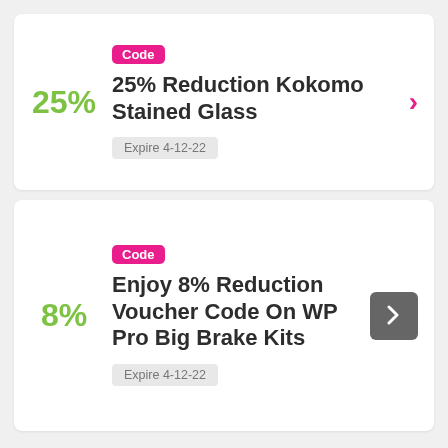Code
25% Reduction Kokomo Stained Glass
Expire 4-12-22
Code
Enjoy 8% Reduction Voucher Code On WP Pro Big Brake Kits
Expire 4-12-22